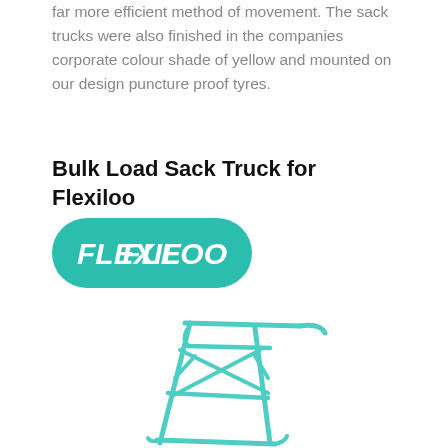far more efficient method of movement. The sack trucks were also finished in the companies corporate colour shade of yellow and mounted on our design puncture proof tyres.
Bulk Load Sack Truck for Flexiloo
[Figure (logo): Flexiloo logo — teal/green rounded rectangle with white text 'FLEXILOO' in bold italic font with a chevron/arrow element replacing the X]
[Figure (illustration): Line illustration of a sack truck / hand truck frame in teal/turquoise color, showing the main upright frame, cross bars, and base plate from a perspective angle]